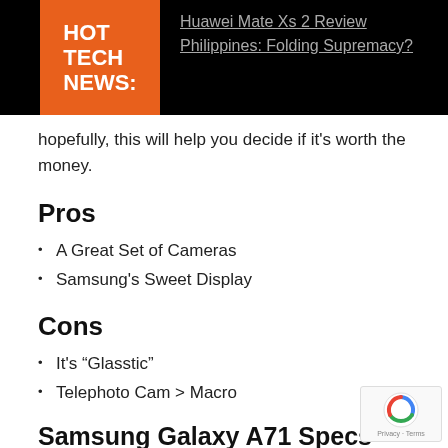HOT TECH NEWS:
Huawei Mate Xs 2 Review Philippines: Folding Supremacy?
hopefully, this will help you decide if it's worth the money.
Pros
A Great Set of Cameras
Samsung's Sweet Display
Cons
It's “Glasstic”
Telephoto Cam > Macro
Samsung Galaxy A71 Specs